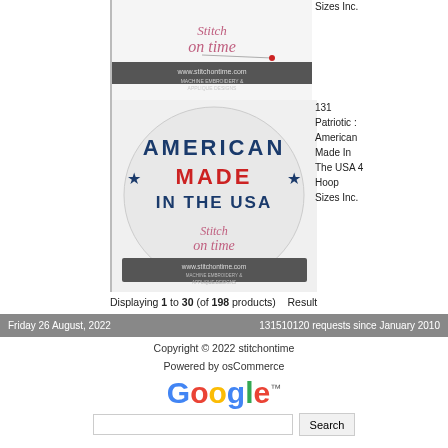[Figure (illustration): Stitch on Time embroidery design product image - top partial view showing logo/banner]
[Figure (illustration): Stitch on Time embroidery design product: American Made In The USA, patriotic design with stars, red white blue text on circular background with Stitch on Time branding banner]
131 Patriotic : American Made In The USA 4 Hoop Sizes Inc.
Displaying 1 to 30 (of 198 products)   Result
Friday 26 August, 2022   131510120 requests since January 2010
Copyright © 2022 stitchontime
Powered by osCommerce
[Figure (logo): Google logo with trademark symbol and search box with Search button]